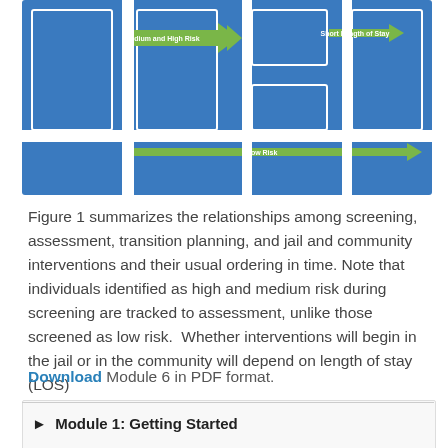[Figure (flowchart): Flowchart showing relationships among screening, assessment, transition planning, and jail/community interventions. Blue boxes connected by green arrows labeled 'Medium and High Risk', 'Short Length of Stay', and 'Low Risk'.]
Figure 1 summarizes the relationships among screening, assessment, transition planning, and jail and community interventions and their usual ordering in time. Note that individuals identified as high and medium risk during screening are tracked to assessment, unlike those screened as low risk. Whether interventions will begin in the jail or in the community will depend on length of stay (LOS)
Download Module 6 in PDF format.
Module 1: Getting Started